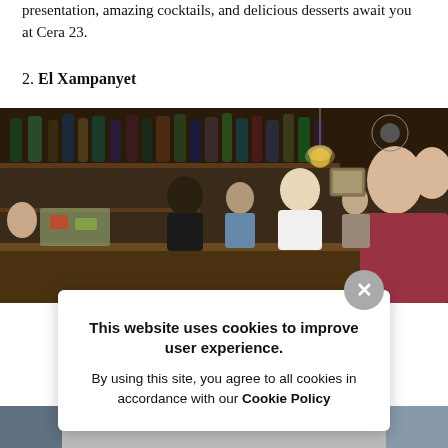presentation, amazing cocktails, and delicious desserts await you at Cera 23.
2. El Xampanyet
[Figure (photo): Interior of El Xampanyet bar in Barcelona, showing a female bartender serving customers at the bar counter, with shelves of bottles in the background and several patrons visible.]
This website uses cookies to improve user experience. By using this site, you agree to all cookies in accordance with our Cookie Policy